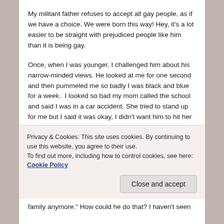My militant father refuses to accept all gay people, as if we have a choice. We were born this way! Hey, it's a lot easier to be straight with prejudiced people like him than it is being gay.
Once, when I was younger, I challenged him about his narrow-minded views. He looked at me for one second and then pummeled me so badly I was black and blue for a week.  I looked so bad my mom called the school and said I was in a car accident. She tried to stand up for me but I said it was okay, I didn't want him to hit her too.
My mother accepts me being gay and loves me for who I am. I have confided in her and while she worries that it is
Privacy & Cookies: This site uses cookies. By continuing to use this website, you agree to their use.
To find out more, including how to control cookies, see here: Cookie Policy
family anymore." How could he do that? I haven't seen